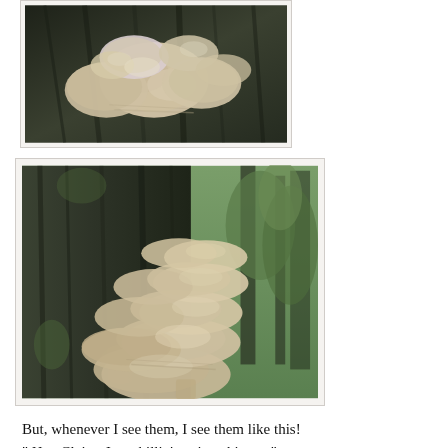[Figure (photo): Close-up photo of oyster mushrooms growing on a dark tree bark, seen from above, showing pale beige/white fan-shaped caps clustered together.]
[Figure (photo): Wider photo of a large cluster of oyster mushrooms growing on the side of a mossy tree trunk in a forest setting with green foliage in the background. The mushrooms are pale pinkish-beige with layered, fan-shaped caps.]
But, whenever I see them, I see them like this!
" Hey Claire, Just chillin' against this tree"